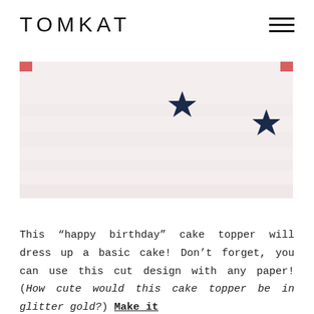TOMKAT
[Figure (photo): Close-up photo of a white/pale pink surface with small navy blue star shapes scattered on it, partially cropped at the top with hints of red at the corners.]
This “happy birthday” cake topper will dress up a basic cake! Don’t forget, you can use this cut design with any paper! (How cute would this cake topper be in glitter gold?) Make it